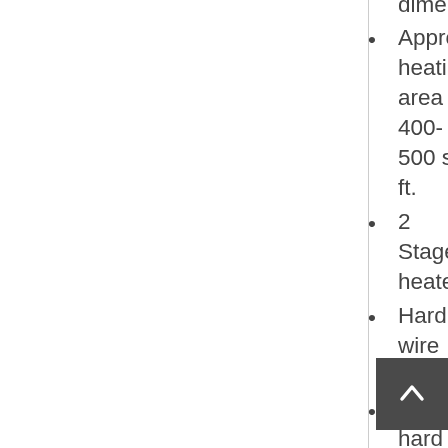in 13 colors to illuminate decorate media – adds new dimension
Approx. heating area 400-500 sq. ft.
2 Stage heater
Hard wire ready
Thermostat hard wire ready
Flame can operate without heat
Single remote control for flame, ambient canopy lighting & heater included
Heater is located on the inside top of the fireplace unit allowing the heat to cascade down over the glass